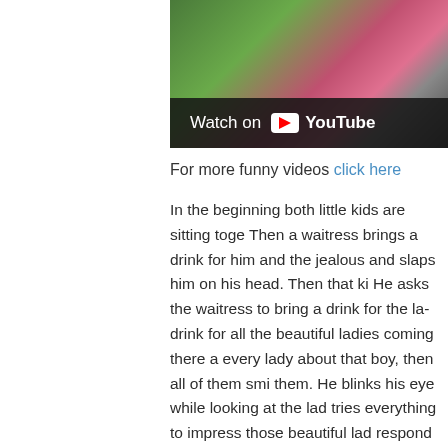[Figure (screenshot): YouTube video thumbnail showing two children sitting together, with a water bottle visible. A 'Watch on YouTube' bar overlays the bottom of the image.]
For more funny videos click here
In the beginning both little kids are sitting toge... Then a waitress brings a drink for him and the... jealous and slaps him on his head. Then that ki... He asks the waitress to bring a drink for the la... drink for all the beautiful ladies coming there... every lady about that boy, then all of them smi... them. He blinks his eye while looking at the lad... tries everything to impress those beautiful lad... respond to him and say hello in return. He imp... flirting then suddenly his girlfriend arrives the... ladies to shut the mouth.
You can find more interesting videos on this...